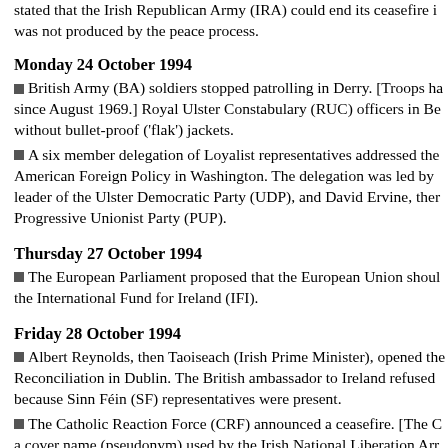stated that the Irish Republican Army (IRA) could end its ceasefire if it was not produced by the peace process.
Monday 24 October 1994
British Army (BA) soldiers stopped patrolling in Derry. [Troops ha since August 1969.] Royal Ulster Constabulary (RUC) officers in Be without bullet-proof ('flak') jackets.
A six member delegation of Loyalist representatives addressed the American Foreign Policy in Washington. The delegation was led by leader of the Ulster Democratic Party (UDP), and David Ervine, ther Progressive Unionist Party (PUP).
Thursday 27 October 1994
The European Parliament proposed that the European Union shoul the International Fund for Ireland (IFI).
Friday 28 October 1994
Albert Reynolds, then Taoiseach (Irish Prime Minister), opened the Reconciliation in Dublin. The British ambassador to Ireland refused because Sinn Féin (SF) representatives were present.
The Catholic Reaction Force (CRF) announced a ceasefire. [The C a cover name (pseudonym) used by the Irish National Liberation Arr
Sunday 30 October 1994
There were scuffles on the Ormeau Road, Belfast, between Royal U (RUC) officers and local residents who were protesting against an O